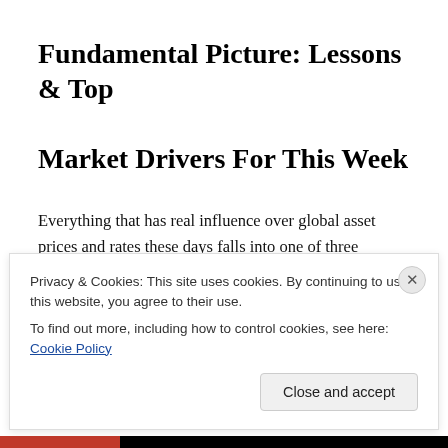Fundamental Picture: Lessons & Top Market Drivers For This Week
Everything that has real influence over global asset prices and rates these days falls into one of three categories:
Privacy & Cookies: This site uses cookies. By continuing to use this website, you agree to their use.
To find out more, including how to control cookies, see here: Cookie Policy